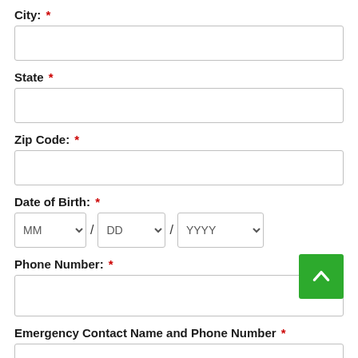City: *
State *
Zip Code: *
Date of Birth: *
Phone Number: *
Emergency Contact Name and Phone Number *